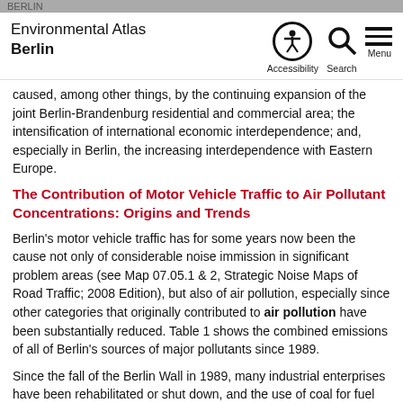Environmental Atlas Berlin
caused, among other things, by the continuing expansion of the joint Berlin-Brandenburg residential and commercial area; the intensification of international economic interdependence; and, especially in Berlin, the increasing interdependence with Eastern Europe.
The Contribution of Motor Vehicle Traffic to Air Pollutant Concentrations: Origins and Trends
Berlin's motor vehicle traffic has for some years now been the cause not only of considerable noise immission in significant problem areas (see Map 07.05.1 & 2, Strategic Noise Maps of Road Traffic; 2008 Edition), but also of air pollution, especially since other categories that originally contributed to air pollution have been substantially reduced. Table 1 shows the combined emissions of all of Berlin's sources of major pollutants since 1989.
Since the fall of the Berlin Wall in 1989, many industrial enterprises have been rehabilitated or shut down, and the use of coal for fuel for the furnaces to heat Berlin's residences has been replaced with heating oil, natural gas, or district heating (cf. Map 08.02.1 Predominant Types of Heating; 2009 Edition, in preparation). In 1989, domestic heating and industry were significant sources of sulphur dioxide and particulate